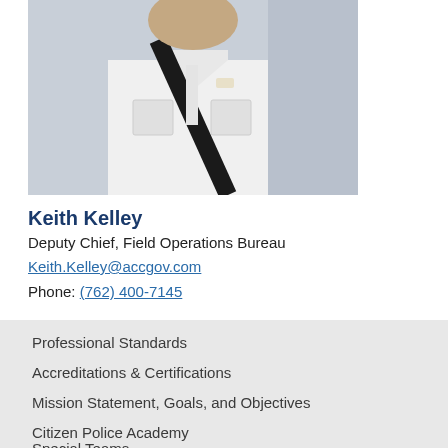[Figure (photo): Photo of Keith Kelley in white uniform shirt with black diagonal strap/sash, partial view cropped at top]
Keith Kelley
Deputy Chief, Field Operations Bureau
Keith.Kelley@accgov.com
Phone: (762) 400-7145
Professional Standards
Accreditations & Certifications
Mission Statement, Goals, and Objectives
Citizen Police Academy
Special Teams